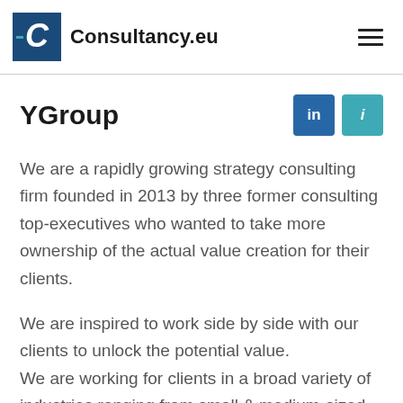Consultancy.eu
YGroup
We are a rapidly growing strategy consulting firm founded in 2013 by three former consulting top-executives who wanted to take more ownership of the actual value creation for their clients.
We are inspired to work side by side with our clients to unlock the potential value. We are working for clients in a broad variety of industries ranging from small & medium-sized to